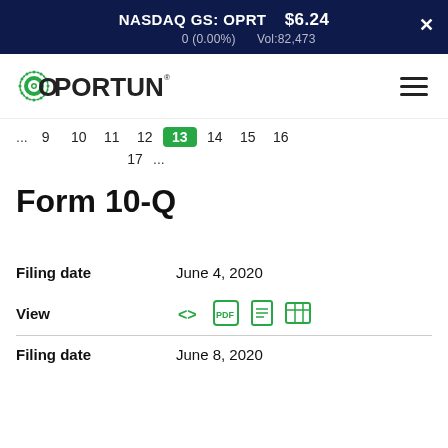NASDAQ GS: OPRT   $6.24   0 (0.00%)   Vol:82,473
[Figure (logo): Oportun company logo with green sunburst O icon]
... 9 10 11 12 13 14 15 16
17 ...
Form 10-Q
Filing date   June 4, 2020
View
Filing date   June 8, 2020